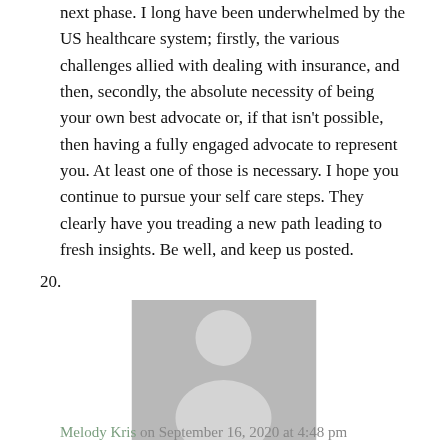next phase. I long have been underwhelmed by the US healthcare system; firstly, the various challenges allied with dealing with insurance, and then, secondly, the absolute necessity of being your own best advocate or, if that isn't possible, then having a fully engaged advocate to represent you. At least one of those is necessary. I hope you continue to pursue your self care steps. They clearly have you treading a new path leading to fresh insights. Be well, and keep us posted.
20.
[Figure (illustration): Generic user avatar placeholder image — grey square with a silhouette of a person (head circle and body shape) in slightly darker grey.]
Melody Kris on September 16, 2020 at 4:48 pm